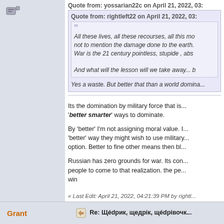[Figure (other): User avatar icon (small document/chat icon)]
Quote from: yossarian22c on April 21, 2022, 03:
Quote from: rightleft22 on April 21, 2022, 03:
All these lives, all these recourses, all this mo... not to mention the damage done to the earth. War is the 21 century pointless, stupide , abs...

And what will the lesson will we take away... b
Yes a waste. But better that than a world domina...
Its the domination by military force that is ... 'better smarter' ways to dominate.
By 'better' I'm not assigning moral value. I... 'better' way they might wish to use military... option. Better to fine other means then bl...
Russian has zero grounds for war. Its con... people to come to that realization. the pe... win
« Last Edit: April 21, 2022, 04:21:39 PM by rightl...
Grant
Re: Щédрик, щедрiк, щédрiвочк...